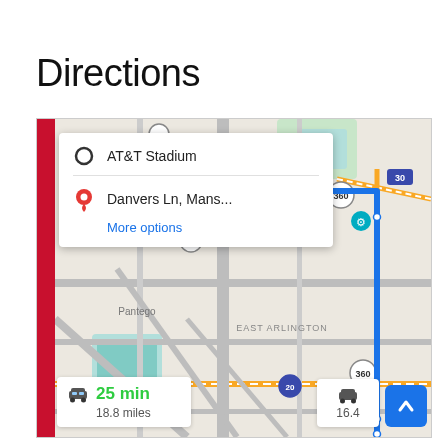Directions
[Figure (screenshot): Google Maps screenshot showing directions from AT&T Stadium in Arlington, Texas to Danvers Ln, Mans... with a blue route highlighted. Includes a directions popup with origin AT&T Stadium and destination Danvers Ln, Mans..., a More options link, and a duration panel showing 25 min / 18.8 miles. A blue up-arrow button appears bottom right.]